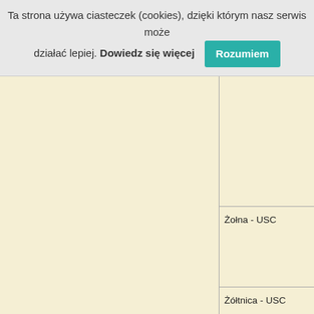Ta strona używa ciasteczek (cookies), dzięki którym nasz serwis może działać lepiej. Dowiedz się więcej  Rozumiem
|  |  |
|  | Żołna - USC |
|  | Żółtnica - USC |
|  | Żukczyn - USC |